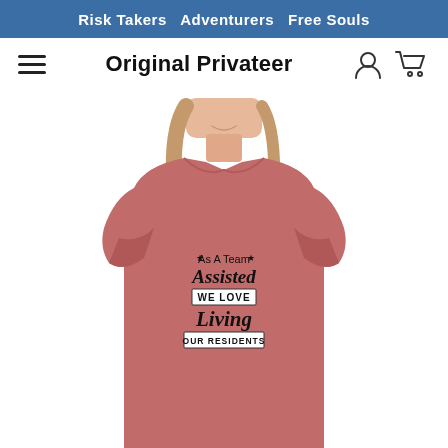Risk Takers  Adventurers  Free Souls
Original Privateer
[Figure (photo): Woman wearing a mauve/dusty rose t-shirt with text design: 'As A Team Assisted WE LOVE Living OUR RESIDENTS' with star decorations]